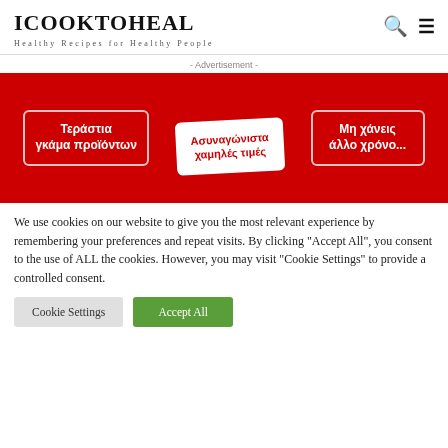ICOOKTOHEAL
Healthy Recipes for Healthy People
- Advertisement -
[Figure (photo): Greek-language advertisement banner on red background showing three tilted cards with white bold text: left card 'Τεράστια γκάμα προϊόντων', center white card 'Ασυναγώνιστα χαμηλές τιμές', right card 'Μη χάνεις άλλο χρόνο...']
We use cookies on our website to give you the most relevant experience by remembering your preferences and repeat visits. By clicking "Accept All", you consent to the use of ALL the cookies. However, you may visit "Cookie Settings" to provide a controlled consent.
Cookie Settings
Accept All